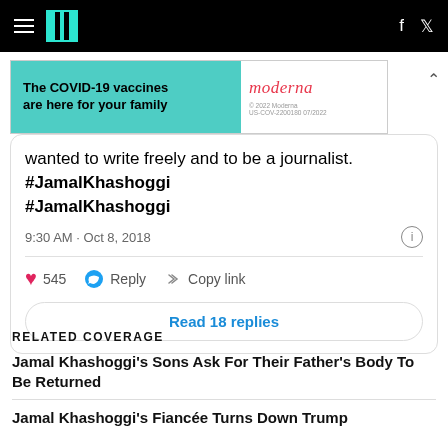HuffPost navigation bar with hamburger menu, logo, Facebook and Twitter icons
[Figure (other): Moderna COVID-19 vaccine advertisement banner: 'The COVID-19 vaccines are here for your family' with Moderna logo]
wanted to write freely and to be a journalist. #JamalKhashoggi #JamalKhashoggi
9:30 AM · Oct 8, 2018
545   Reply   Copy link
Read 18 replies
RELATED COVERAGE
Jamal Khashoggi's Sons Ask For Their Father's Body To Be Returned
Jamal Khashoggi's Fiancée Turns Down Trump